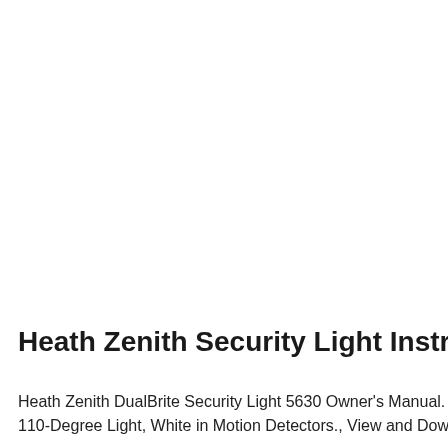Heath Zenith Security Light Instruction
Heath Zenith DualBrite Security Light 5630 Owner's Manual. Heath. 110-Degree Light, White in Motion Detectors., View and Download